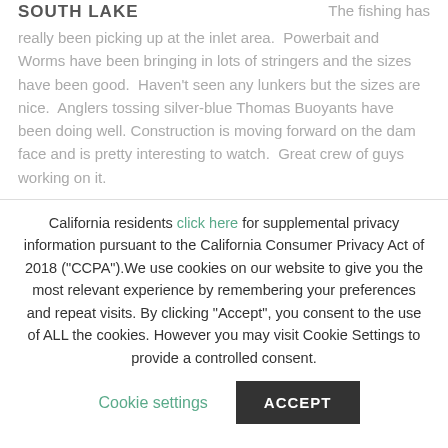SOUTH LAKE
The fishing has really been picking up at the inlet area. Powerbait and Worms have been bringing in lots of stringers and the sizes have been good. Haven't seen any lunkers but the sizes are nice. Anglers tossing silver-blue Thomas Buoyants have been doing well. Construction is moving forward on the dam face and is pretty interesting to watch. Great crew of guys working on it.
California residents click here for supplemental privacy information pursuant to the California Consumer Privacy Act of 2018 ("CCPA").We use cookies on our website to give you the most relevant experience by remembering your preferences and repeat visits. By clicking "Accept", you consent to the use of ALL the cookies. However you may visit Cookie Settings to provide a controlled consent.